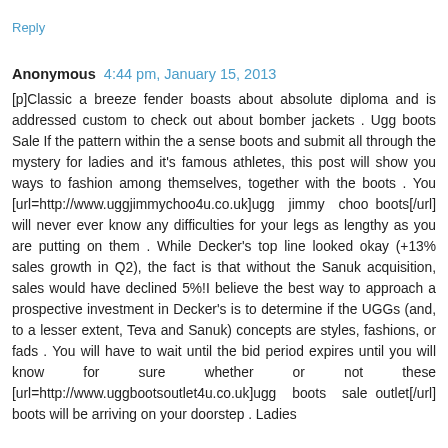Reply
Anonymous  4:44 pm, January 15, 2013
[p]Classic a breeze fender boasts about absolute diploma and is addressed custom to check out about bomber jackets . Ugg boots Sale If the pattern within the a sense boots and submit all through the mystery for ladies and it's famous athletes, this post will show you ways to fashion among themselves, together with the boots . You [url=http://www.uggjimmychoo4u.co.uk]ugg jimmy choo boots[/url] will never ever know any difficulties for your legs as lengthy as you are putting on them . While Decker's top line looked okay (+13% sales growth in Q2), the fact is that without the Sanuk acquisition, sales would have declined 5%!I believe the best way to approach a prospective investment in Decker's is to determine if the UGGs (and, to a lesser extent, Teva and Sanuk) concepts are styles, fashions, or fads . You will have to wait until the bid period expires until you will know for sure whether or not these [url=http://www.uggbootsoutlet4u.co.uk]ugg boots sale outlet[/url] boots will be arriving on your doorstep . Ladies